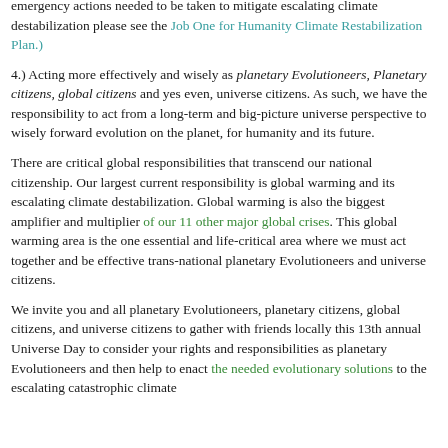emergency actions needed to be taken to mitigate escalating climate destabilization please see the Job One for Humanity Climate Restabilization Plan.)
4.) Acting more effectively and wisely as planetary Evolutioneers, Planetary citizens, global citizens and yes even, universe citizens. As such, we have the responsibility to act from a long-term and big-picture universe perspective to wisely forward evolution on the planet, for humanity and its future.
There are critical global responsibilities that transcend our national citizenship. Our largest current responsibility is global warming and its escalating climate destabilization. Global warming is also the biggest amplifier and multiplier of our 11 other major global crises. This global warming area is the one essential and life-critical area where we must act together and be effective trans-national planetary Evolutioneers and universe citizens.
We invite you and all planetary Evolutioneers, planetary citizens, global citizens, and universe citizens to gather with friends locally this 13th annual Universe Day to consider your rights and responsibilities as planetary Evolutioneers and then help to enact the needed evolutionary solutions to the escalating catastrophic climate